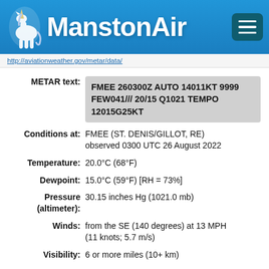ManstonAir
http://aviationweather.gov/metar/data/
| Field | Value |
| --- | --- |
| METAR text: | FMEE 260300Z AUTO 14011KT 9999 FEW041/// 20/15 Q1021 TEMPO 12015G25KT |
| Conditions at: | FMEE (ST. DENIS/GILLOT, RE) observed 0300 UTC 26 August 2022 |
| Temperature: | 20.0°C (68°F) |
| Dewpoint: | 15.0°C (59°F) [RH = 73%] |
| Pressure (altimeter): | 30.15 inches Hg (1021.0 mb) |
| Winds: | from the SE (140 degrees) at 13 MPH (11 knots; 5.7 m/s) |
| Visibility: | 6 or more miles (10+ km) |